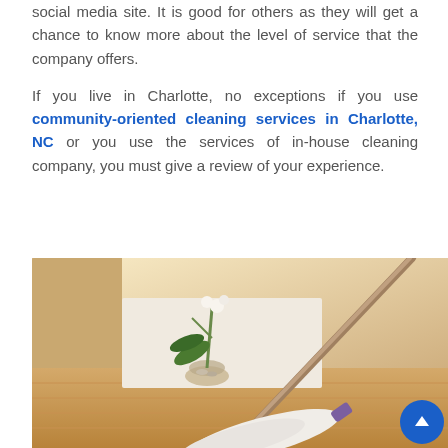social media site. It is good for others as they will get a chance to know more about the level of service that the company offers.

If you live in Charlotte, no exceptions if you use community-oriented cleaning services in Charlotte, NC or you use the services of in-house cleaning company, you must give a review of your experience.
[Figure (photo): Photo of a room with wood floor, an orchid plant in a glass vase, and a white mop/duster being used on the floor. Social media share buttons (Facebook, Google+, Twitter, Plus) visible on the left side.]